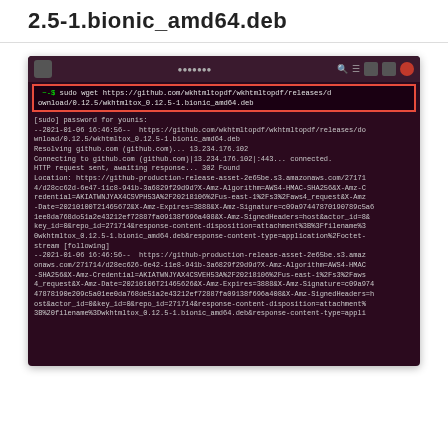2.5-1.bionic_amd64.deb
[Figure (screenshot): Terminal screenshot showing a sudo wget command downloading wkhtmltox_0.12.5-1.bionic_amd64.deb from GitHub releases, with the command highlighted in a red border box and terminal output showing HTTP redirect chain to Amazon S3.]